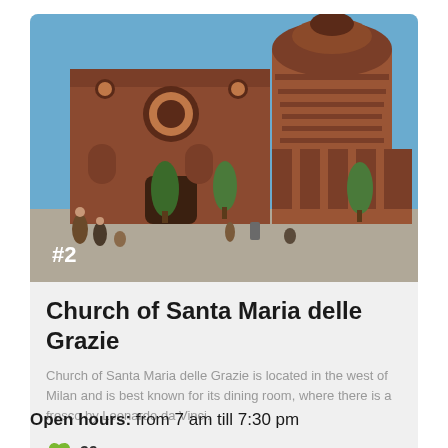[Figure (photo): Exterior photograph of the Church of Santa Maria delle Grazie in Milan, showing the brick Renaissance facade with round windows, arched doorway, and a large domed apse. People are visible in the foreground piazza with trees. A '#2' badge is overlaid on the lower-left of the image.]
Church of Santa Maria delle Grazie
Church of Santa Maria delle Grazie is located in the west of Milan and is best known for its dining room, where there is a fresco by Leonardo da Vinci.
39
Open hours: from 7 am till 7:30 pm